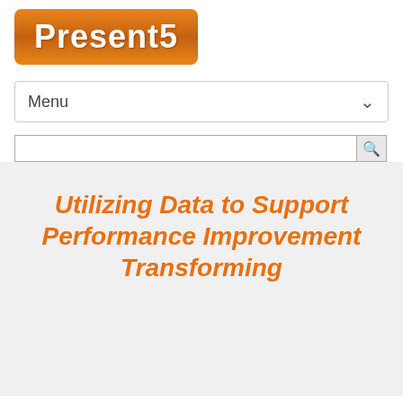[Figure (logo): Present5 logo — orange rounded rectangle with white bold text reading 'Present5']
Menu
search bar with magnifying glass icon
Utilizing Data to Support Performance Improvement Transforming